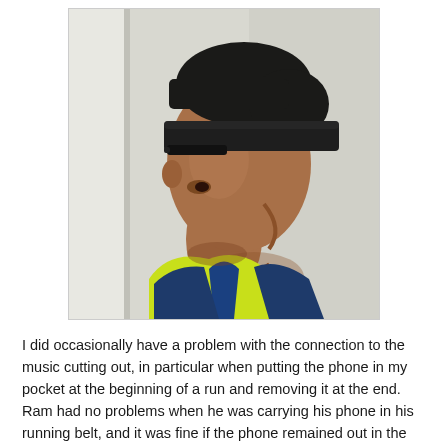[Figure (photo): Side profile photo of a man wearing a black headband and yellow/green athletic jacket, looking to the right. White/grey background.]
I did occasionally have a problem with the connection to the music cutting out, in particular when putting the phone in my pocket at the beginning of a run and removing it at the end. Ram had no problems when he was carrying his phone in his running belt, and it was fine if the phone remained out in the